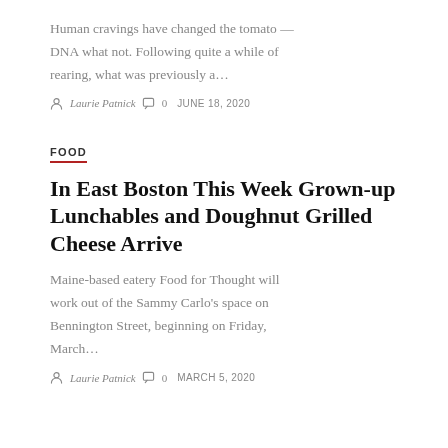Human cravings have changed the tomato — DNA what not. Following quite a while of rearing, what was previously a…
Laurie Patnick  0  JUNE 18, 2020
FOOD
In East Boston This Week Grown-up Lunchables and Doughnut Grilled Cheese Arrive
Maine-based eatery Food for Thought will work out of the Sammy Carlo's space on Bennington Street, beginning on Friday, March…
Laurie Patnick  0  MARCH 5, 2020